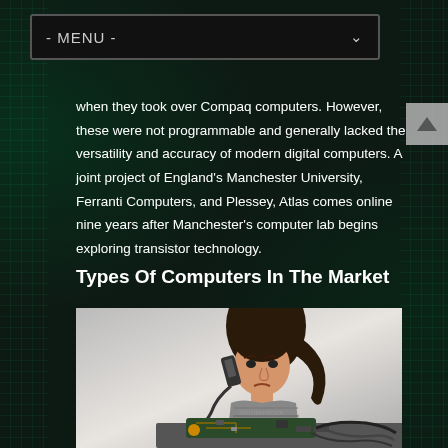- MENU -
when they took over Compaq computers. However, these were not programmable and generally lacked the versatility and accuracy of modern digital computers. A joint project of England's Manchester University, Ferranti Computers, and Plessey, Atlas comes online nine years after Manchester's computer lab begins exploring transistor technology.
Types Of Computers In The Market
[Figure (photo): A frustrated woman talking on a phone while surrounded by computer cables and circuit boards on a desk. Shutterstock watermark visible.]